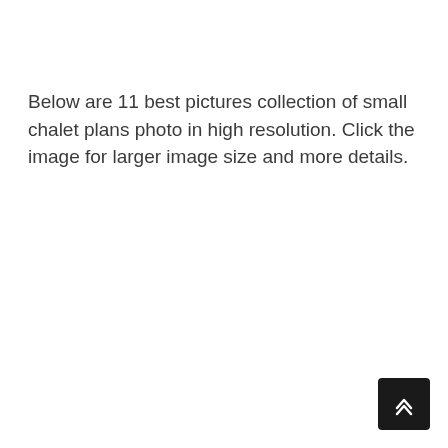Below are 11 best pictures collection of small chalet plans photo in high resolution. Click the image for larger image size and more details.